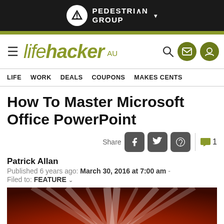PEDESTRIAN GROUP
[Figure (logo): Lifehacker AU logo with hamburger menu, search and user icons]
LIFE  WORK  DEALS  COUPONS  MAKES CENTS
How To Master Microsoft Office PowerPoint
Share [Facebook] [Twitter] [Reddit] | 1 comment
Patrick Allan
Published 6 years ago: March 30, 2016 at 7:00 am -
Filed to: FEATURE
[Figure (photo): Orange and red radial light burst / PowerPoint presentation background image]